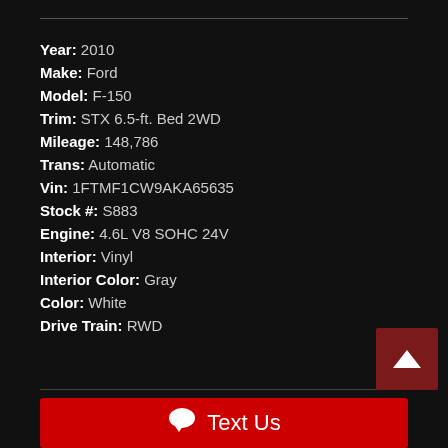Year: 2010
Make: Ford
Model: F-150
Trim: STX 6.5-ft. Bed 2WD
Mileage: 148,786
Trans: Automatic
Vin: 1FTMF1CW9AKA65635
Stock #: S883
Engine: 4.6L V8 SOHC 24V
Interior: Vinyl
Interior Color: Gray
Color: White
Drive Train: RWD
Text Us